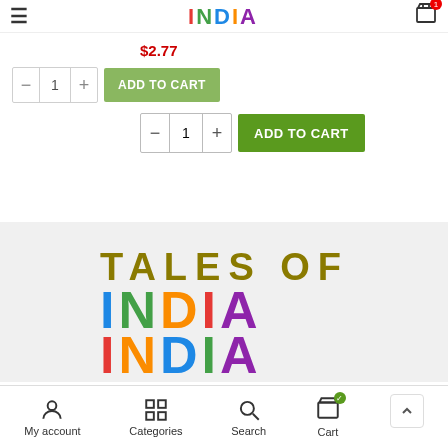INDIA (Tales of India logo top nav)
$2.77
- 1 + ADD TO CART (first product row)
- 1 + ADD TO CART (second product row)
[Figure (logo): Tales of India logo with colourful geometric INDIA lettering and 'TALES OF' text above in olive/gold]
Your one stop shop for all things Indian! Free delivery within
My account | Categories | Search | Cart